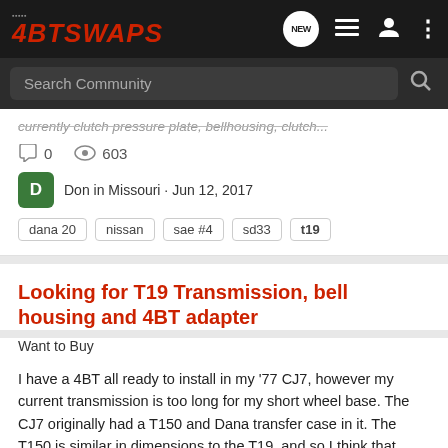4BTSWAPS
...currently clutch pressure plate, bellhousing, clutch...
0 comments · 603 views · Don in Missouri · Jun 12, 2017
dana 20  nissan  sae #4  sd33  t19
Looking for T19 Transmission, bell housing and 4BT adapter
Want to Buy
I have a 4BT all ready to install in my '77 CJ7, however my current transmission is too long for my short wheel base. The CJ7 originally had a T150 and Dana transfer case in it. The T150 is similar in dimensions to the T19, and so I think that tranny will work best, but cannot seem to find one...